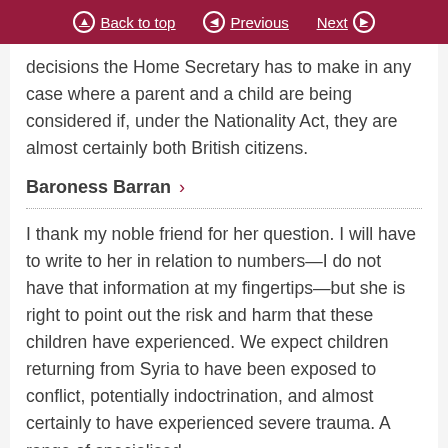Back to top  Previous  Next
decisions the Home Secretary has to make in any case where a parent and a child are being considered if, under the Nationality Act, they are almost certainly both British citizens.
Baroness Barran
I thank my noble friend for her question. I will have to write to her in relation to numbers—I do not have that information at my fingertips—but she is right to point out the risk and harm that these children have experienced. We expect children returning from Syria to have been exposed to conflict, potentially indoctrination, and almost certainly to have experienced severe trauma. A range of specialised